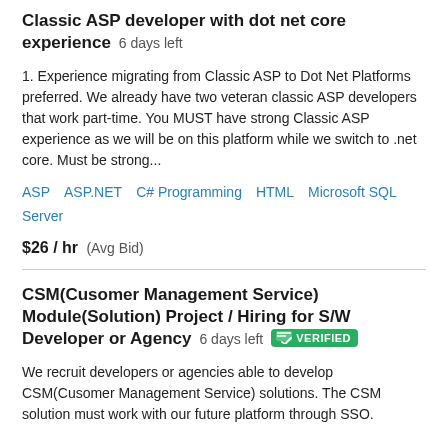Classic ASP developer with dot net core experience  6 days left
1. Experience migrating from Classic ASP to Dot Net Platforms preferred. We already have two veteran classic ASP developers that work part-time. You MUST have strong Classic ASP experience as we will be on this platform while we switch to .net core. Must be strong...
ASP  ASP.NET  C# Programming  HTML  Microsoft SQL Server
$26 / hr  (Avg Bid)
CSM(Cusomer Management Service) Module(Solution) Project / Hiring for S/W Developer or Agency  6 days left  VERIFIED
We recruit developers or agencies able to develop CSM(Cusomer Management Service) solutions. The CSM solution must work with our future platform through SSO.